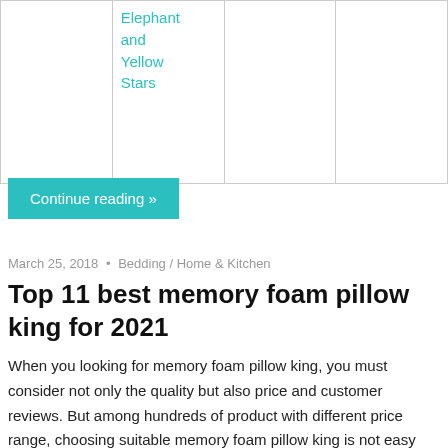|  | Elephant and Yellow Stars |  |  |
Continue reading »
March 25, 2018  •  Bedding / Home & Kitchen
Top 11 best memory foam pillow king for 2021
When you looking for memory foam pillow king, you must consider not only the quality but also price and customer reviews. But among hundreds of product with different price range, choosing suitable memory foam pillow king is not easy without guidance.